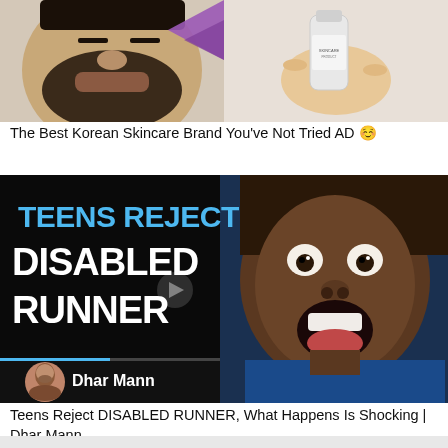[Figure (photo): YouTube video thumbnail for a Korean skincare brand advertisement showing a bearded man and a hand holding a skincare product bottle, with a purple geometric shape in the center]
The Best Korean Skincare Brand You've Not Tried AD ☺️
[Figure (photo): YouTube video thumbnail for Dhar Mann video titled 'TEENS REJECT DISABLED RUNNER' with large white bold text on black background on the left half and a Black teenage boy with mouth wide open in shock on the right half, with Dhar Mann's profile photo and name in the lower left]
Teens Reject DISABLED RUNNER, What Happens Is Shocking | Dhar Mann